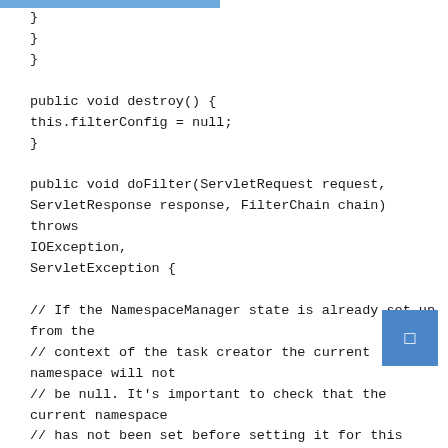}
}
}

public void destroy() {
this.filterConfig = null;
}

public void doFilter(ServletRequest request,
ServletResponse response, FilterChain chain) throws
IOException,
ServletException {

// If the NamespaceManager state is already set up from the
// context of the task creator the current namespace will not
// be null. It's important to check that the current namespace
// has not been set before setting it for this request.
if (NamespaceManager.get() == null) {